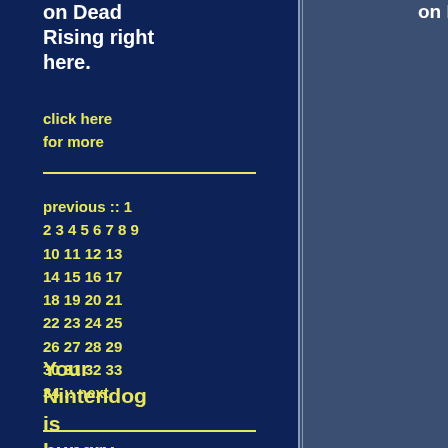on Dead Rising right here.
click here for more
previous :: 1 2 3 4 5 6 7 8 9 10 11 12 13 14 15 16 17 18 19 20 21 22 23 24 25 26 27 28 29 30 31 32 33 34 :: next
Your Nintendog is hungry.